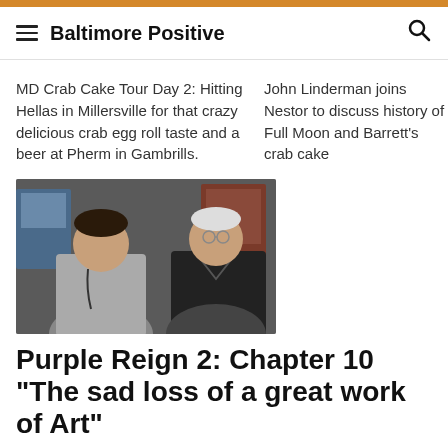Baltimore Positive
MD Crab Cake Tour Day 2: Hitting Hellas in Millersville for that crazy delicious crab egg roll taste and a beer at Pherm in Gambrills.
John Linderman joins Nestor to discuss history of Full Moon and Barrett's crab cake
[Figure (photo): Two men posing together indoors, one younger in gray jacket with headphones around neck, one older in black v-neck sweater, against a wall with posters]
Purple Reign 2: Chapter 10 “The sad loss of a great work of Art”
This is Chapter 10 of "Purple